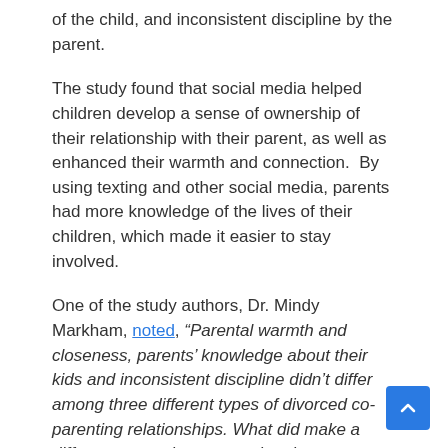of the child, and inconsistent discipline by the parent.
The study found that social media helped children develop a sense of ownership of their relationship with their parent, as well as enhanced their warmth and connection.  By using texting and other social media, parents had more knowledge of the lives of their children, which made it easier to stay involved.
One of the study authors, Dr. Mindy Markham, noted, “Parental warmth and closeness, parents’ knowledge about their kids and inconsistent discipline didn’t differ among three different types of divorced co-parenting relationships. What did make a difference was the contact that the parents had with the youth. Essentially, the more contact that parents had with their kids was better regardless of the parents’ relationship with each other.”